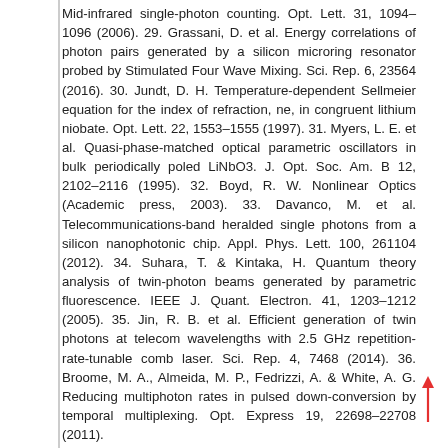Mid-infrared single-photon counting. Opt. Lett. 31, 1094–1096 (2006). 29. Grassani, D. et al. Energy correlations of photon pairs generated by a silicon microring resonator probed by Stimulated Four Wave Mixing. Sci. Rep. 6, 23564 (2016). 30. Jundt, D. H. Temperature-dependent Sellmeier equation for the index of refraction, ne, in congruent lithium niobate. Opt. Lett. 22, 1553–1555 (1997). 31. Myers, L. E. et al. Quasi-phase-matched optical parametric oscillators in bulk periodically poled LiNbO3. J. Opt. Soc. Am. B 12, 2102–2116 (1995). 32. Boyd, R. W. Nonlinear Optics (Academic press, 2003). 33. Davanco, M. et al. Telecommunications-band heralded single photons from a silicon nanophotonic chip. Appl. Phys. Lett. 100, 261104 (2012). 34. Suhara, T. & Kintaka, H. Quantum theory analysis of twin-photon beams generated by parametric fluorescence. IEEE J. Quant. Electron. 41, 1203–1212 (2005). 35. Jin, R. B. et al. Efficient generation of twin photons at telecom wavelengths with 2.5 GHz repetition-rate-tunable comb laser. Sci. Rep. 4, 7468 (2014). 36. Broome, M. A., Almeida, M. P., Fedrizzi, A. & White, A. G. Reducing multiphoton rates in pulsed down-conversion by temporal multiplexing. Opt. Express 19, 22698–22708 (2011).